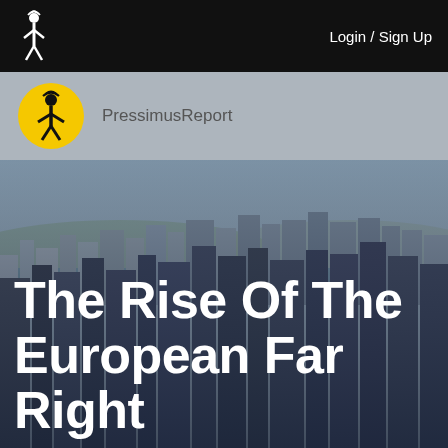Login / Sign Up
PressimusReport
[Figure (photo): Aerial cityscape photograph showing a dense urban skyline with skyscrapers, a river, and hazy sky in the background.]
The Rise Of The European Far Right